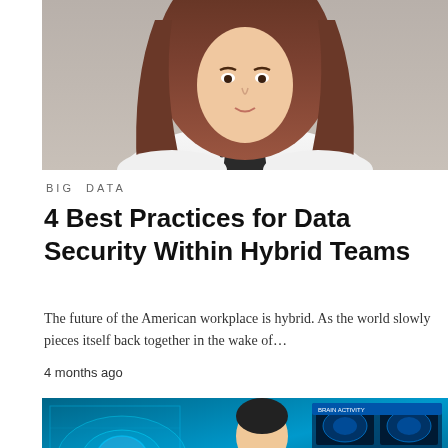[Figure (photo): Portrait photo of a woman with long brown hair wearing a white polka-dot blouse, cropped from shoulders up, against a gray background]
BIG DATA
4 Best Practices for Data Security Within Hybrid Teams
The future of the American workplace is hybrid. As the world slowly pieces itself back together in the wake of…
4 months ago
[Figure (photo): Photo of a doctor in white coat with stethoscope pointing at a futuristic digital medical interface with brain scans displayed on a blue glowing screen]